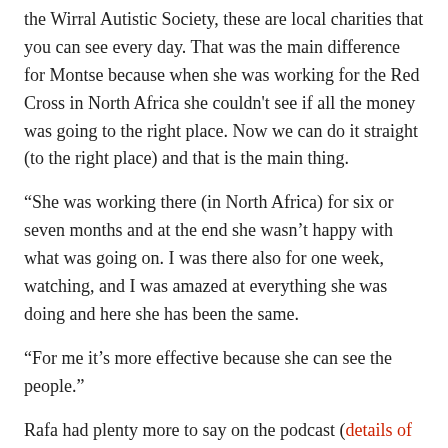the Wirral Autistic Society, these are local charities that you can see every day. That was the main difference for Montse because when she was working for the Red Cross in North Africa she couldn't see if all the money was going to the right place. Now we can do it straight (to the right place) and that is the main thing.
“She was working there (in North Africa) for six or seven months and at the end she wasn’t happy with what was going on. I was there also for one week, watching, and I was amazed at everything she was doing and here she has been the same.
“For me it’s more effective because she can see the people.”
Rafa had plenty more to say on the podcast (details of how to download it are here) and will obviously have far more to say on what promises to be a fascinating Sunday night at The Empire. There are still some